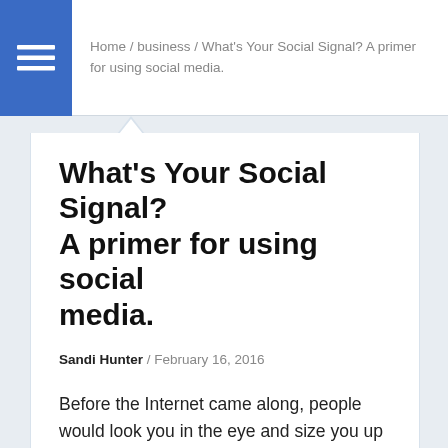Home / business / What's Your Social Signal? A primer for using social media.
What's Your Social Signal? A primer for using social media.
Sandi Hunter / February 16, 2016
Before the Internet came along, people would look you in the eye and size you up based on your appearance or perhaps your handshake.
These days people judge you based on your Social Signal without possibly ever having met you. This time, there really may be no second